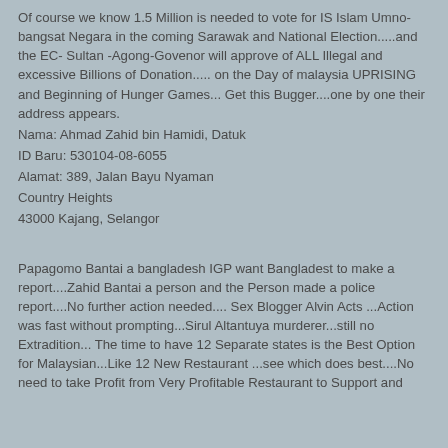Of course we know 1.5 Million is needed to vote for IS Islam Umno-bangsat Negara in the coming Sarawak and National Election.....and the EC- Sultan -Agong-Govenor will approve of ALL Illegal and excessive Billions of Donation..... on the Day of malaysia UPRISING and Beginning of Hunger Games... Get this Bugger....one by one their address appears.
Nama: Ahmad Zahid bin Hamidi, Datuk
ID Baru: 530104-08-6055
Alamat: 389, Jalan Bayu Nyaman
Country Heights
43000 Kajang, Selangor
Papagomo Bantai a bangladesh IGP want Bangladest to make a report....Zahid Bantai a person and the Person made a police report....No further action needed.... Sex Blogger Alvin Acts ...Action was fast without prompting...Sirul Altantuya murderer...still no Extradition... The time to have 12 Separate states is the Best Option for Malaysian...Like 12 New Restaurant ...see which does best....No need to take Profit from Very Profitable Restaurant to Support and